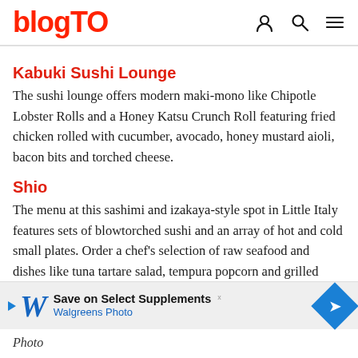blogTO
Kabuki Sushi Lounge
The sushi lounge offers modern maki-mono like Chipotle Lobster Rolls and a Honey Katsu Crunch Roll featuring fried chicken rolled with cucumber, avocado, honey mustard aioli, bacon bits and torched cheese.
Shio
The menu at this sashimi and izakaya-style spot in Little Italy features sets of blowtorched sushi and an array of hot and cold small plates. Order a chef's selection of raw seafood and dishes like tuna tartare salad, tempura popcorn and grilled meat skewers.
[Figure (other): Advertisement banner: Walgreens Photo - Save on Select Supplements]
Photo